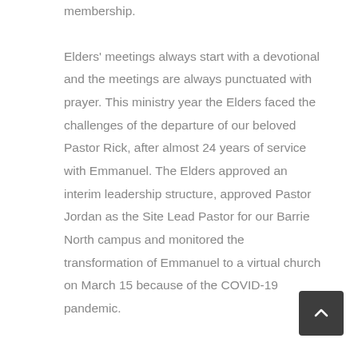membership.
Elders' meetings always start with a devotional and the meetings are always punctuated with prayer. This ministry year the Elders faced the challenges of the departure of our beloved Pastor Rick, after almost 24 years of service with Emmanuel. The Elders approved an interim leadership structure, approved Pastor Jordan as the Site Lead Pastor for our Barrie North campus and monitored the transformation of Emmanuel to a virtual church on March 15 because of the COVID-19 pandemic.